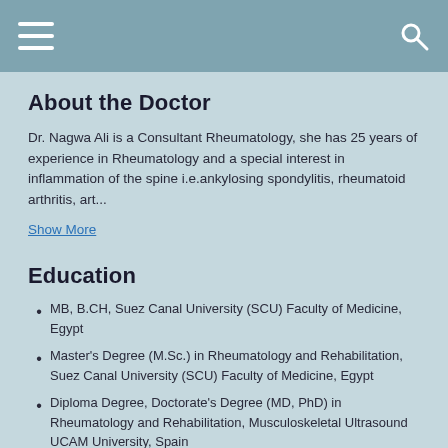About the Doctor
Dr. Nagwa Ali is a Consultant Rheumatology, she has 25 years of experience in Rheumatology and a special interest in inflammation of the spine i.e.ankylosing spondylitis, rheumatoid arthritis, art...
Show More
Education
MB, B.CH, Suez Canal University (SCU) Faculty of Medicine, Egypt
Master's Degree (M.Sc.) in Rheumatology and Rehabilitation, Suez Canal University (SCU) Faculty of Medicine, Egypt
Diploma Degree, Doctorate's Degree (MD, PhD) in Rheumatology and Rehabilitation, Musculoskeletal Ultrasound UCAM University, Spain